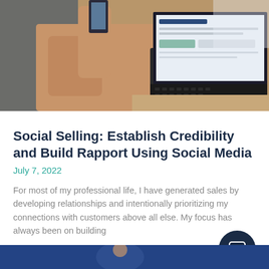[Figure (photo): Woman sitting cross-legged holding a smartphone, with an open laptop on a wooden table beside her, both screens visible]
Social Selling: Establish Credibility and Build Rapport Using Social Media
July 7, 2022
For most of my professional life, I have generated sales by developing relationships and intentionally prioritizing my connections with customers above all else. My focus has always been on building
[Figure (photo): Bottom partial image showing a person in a blue-tinted scene]